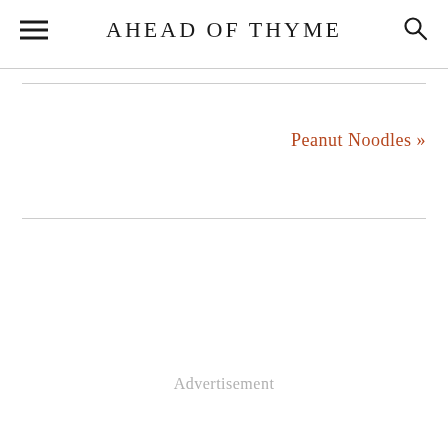AHEAD OF THYME
Peanut Noodles »
Advertisement